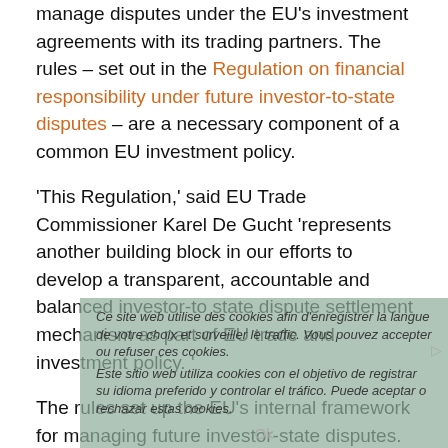manage disputes under the EU's investment agreements with its trading partners. The rules – set out in the Regulation on financial responsibility under future investor-to-state disputes – are a necessary component of a common EU investment policy.
'This Regulation,' said EU Trade Commissioner Karel De Gucht 'represents another building block in our efforts to develop a transparent, accountable and balanced investor-to state dispute settlement mechanism as part of EU trade and investment policy. '
The rules set up the EU's internal framework for managing future investor-state disputes. They define who is best placed to defend the EU's and Member States' interests in the event of any challenge under investor-to-state dispute (ISDS) in EU trade agreements and the Energy Charter Treaty. The rules also establish the principles for allocating any eventual costs or compensation. Member States will defend any challenges to their own measures and the EU will defend measures taken